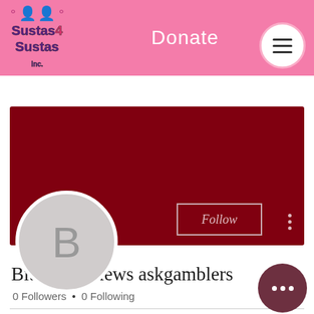[Figure (screenshot): Sustas4Sustas Inc. logo with stylized figures and pink/purple text]
Donate
[Figure (screenshot): User profile page with dark red cover photo, avatar circle with letter B, Follow button, and three vertical dots menu]
Bitstarz reviews askgamblers
0 Followers • 0 Following